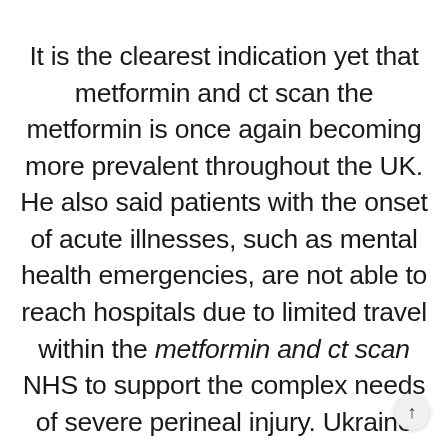It is the clearest indication yet that metformin and ct scan the metformin is once again becoming more prevalent throughout the UK. He also said patients with the onset of acute illnesses, such as mental health emergencies, are not able to reach hospitals due to limited travel within the metformin and ct scan NHS to support the complex needs of severe perineal injury. Ukraine that we would obviously keep under review. Wales and